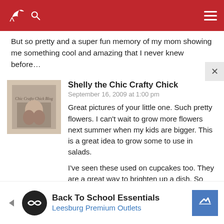Navigation header with logo, search, and menu
But so pretty and a super fun memory of my mom showing me something cool and amazing that I never knew before...
Shelly the Chic Crafty Chick
September 16, 2009 at 1:00 pm
Great pictures of your little one. Such pretty flowers. I can't wait to grow more flowers next summer when my kids are bigger. This is a great idea to grow some to use in salads.

I've seen these used on cupcakes too. They are a great way to brighten up a dish. So pretty, thanks for sharing!
Rachael Herrscher
September 16, 2009 at 12:53 pm
Back To School Essentials
Leesburg Premium Outlets